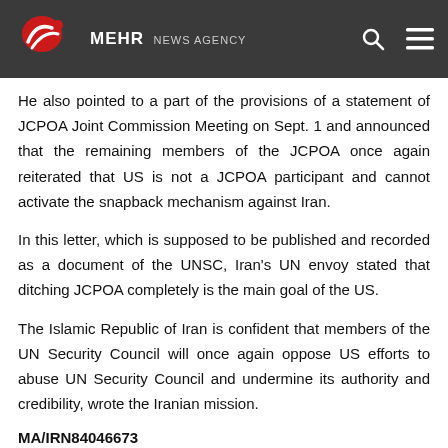MEHR NEWS AGENCY
He also pointed to a part of the provisions of a statement of JCPOA Joint Commission Meeting on Sept. 1 and announced that the remaining members of the JCPOA once again reiterated that US is not a JCPOA participant and cannot activate the snapback mechanism against Iran.
In this letter, which is supposed to be published and recorded as a document of the UNSC, Iran's UN envoy stated that ditching JCPOA completely is the main goal of the US.
The Islamic Republic of Iran is confident that members of the UN Security Council will once again oppose US efforts to abuse UN Security Council and undermine its authority and credibility, wrote the Iranian mission.
MA/IRN84046673
News Code 163728
[Figure (photo): Small circular avatar photo of a person]